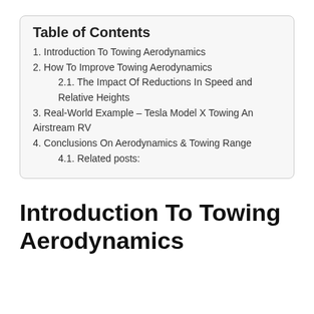Table of Contents
1. Introduction To Towing Aerodynamics
2. How To Improve Towing Aerodynamics
2.1. The Impact Of Reductions In Speed and Relative Heights
3. Real-World Example – Tesla Model X Towing An Airstream RV
4. Conclusions On Aerodynamics & Towing Range
4.1. Related posts:
Introduction To Towing Aerodynamics